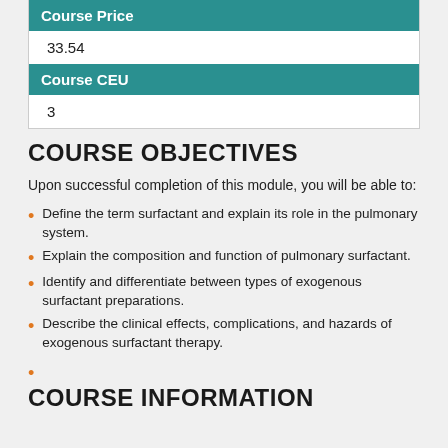| Course Price |
| --- |
| 33.54 |
| Course CEU |
| --- |
| 3 |
COURSE OBJECTIVES
Upon successful completion of this module, you will be able to:
Define the term surfactant and explain its role in the pulmonary system.
Explain the composition and function of pulmonary surfactant.
Identify and differentiate between types of exogenous surfactant preparations.
Describe the clinical effects, complications, and hazards of exogenous surfactant therapy.
COURSE INFORMATION